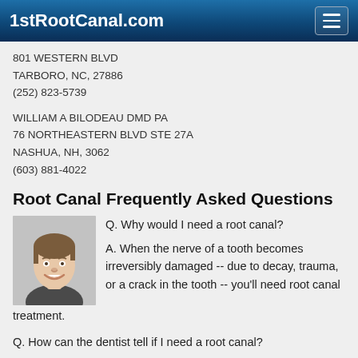1stRootCanal.com
801 WESTERN BLVD
TARBORO, NC, 27886
(252) 823-5739
WILLIAM A BILODEAU DMD PA
76 NORTHEASTERN BLVD STE 27A
NASHUA, NH, 3062
(603) 881-4022
Root Canal Frequently Asked Questions
[Figure (photo): Smiling young man with short brown hair, gray background]
Q. Why would I need a root canal?

A. When the nerve of a tooth becomes irreversibly damaged -- due to decay, trauma, or a crack in the tooth -- you'll need root canal treatment.
Q. How can the dentist tell if I need a root canal?
A. Often nerve damage causes... read more